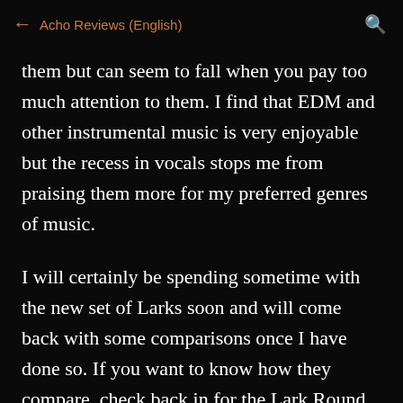← Acho Reviews (English)
them but can seem to fall when you pay too much attention to them. I find that EDM and other instrumental music is very enjoyable but the recess in vocals stops me from praising them more for my preferred genres of music.
I will certainly be spending sometime with the new set of Larks soon and will come back with some comparisons once I have done so. If you want to know how they compare, check back in for the Lark Round 2, I will try to throw some other comparisons in at the same time.